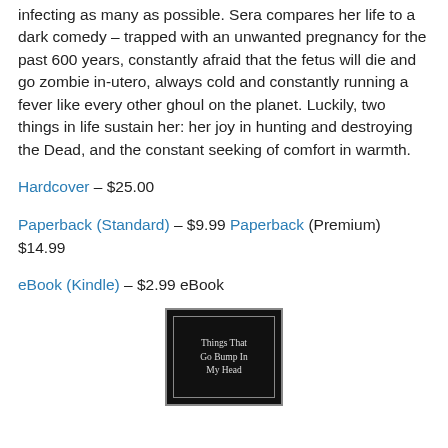infecting as many as possible. Sera compares her life to a dark comedy – trapped with an unwanted pregnancy for the past 600 years, constantly afraid that the fetus will die and go zombie in-utero, always cold and constantly running a fever like every other ghoul on the planet. Luckily, two things in life sustain her: her joy in hunting and destroying the Dead, and the constant seeking of comfort in warmth.
Hardcover – $25.00
Paperback (Standard) – $9.99 Paperback (Premium) $14.99
eBook (Kindle) – $2.99 eBook
[Figure (illustration): Book cover for 'Things That Go Bump In My Head' — black background with ornate border and white title text]